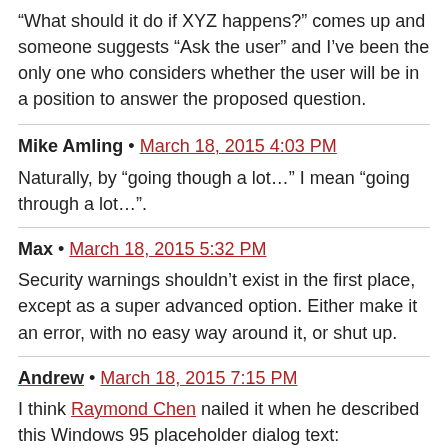“What should it do if XYZ happens?” comes up and someone suggests “Ask the user” and I’ve been the only one who considers whether the user will be in a position to answer the proposed question.
Mike Amling • March 18, 2015 4:03 PM
Naturally, by “going though a lot…” I mean “going through a lot…”.
Max • March 18, 2015 5:32 PM
Security warnings shouldn’t exist in the first place, except as a super advanced option. Either make it an error, with no easy way around it, or shut up.
Andrew • March 18, 2015 7:15 PM
I think Raymond Chen nailed it when he described this Windows 95 placeholder dialog text:
In order to demonstrate our superior intellect, we will